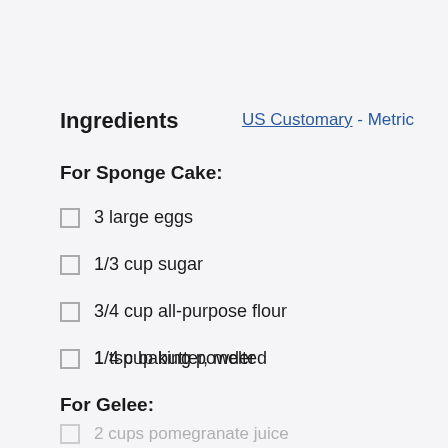Ingredients
US Customary - Metric
For Sponge Cake:
3 large eggs
1/3 cup sugar
3/4 cup all-purpose flour
1 tsp baking powder
1/4 cup butter, melted
For Gelee:
2 cups pomegranate juice